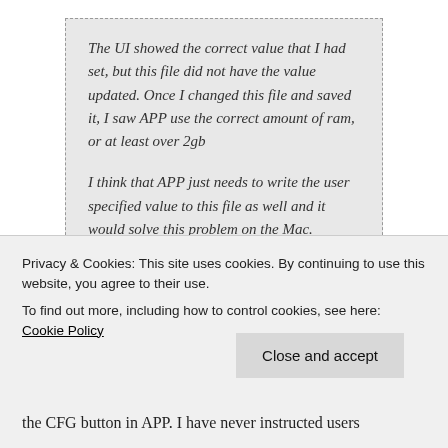The UI showed the correct value that I had set, but this file did not have the value updated. Once I changed this file and saved it, I saw APP use the correct amount of ram, or at least over 2gb

I think that APP just needs to write the user specified value to this file as well and it would solve this problem on the Mac.
And this is controlled on the user level. The CFG file reading VMOptions for Yaw 2 is from...
Privacy & Cookies: This site uses cookies. By continuing to use this website, you agree to their use.
To find out more, including how to control cookies, see here: Cookie Policy
the CFG button in APP. I have never instructed users